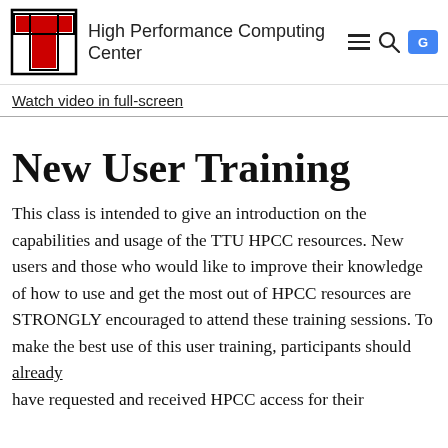High Performance Computing Center
Watch video in full-screen
New User Training
This class is intended to give an introduction on the capabilities and usage of the TTU HPCC resources. New users and those who would like to improve their knowledge of how to use and get the most out of HPCC resources are STRONGLY encouraged to attend these training sessions. To make the best use of this user training, participants should already have requested and received HPCC access for their